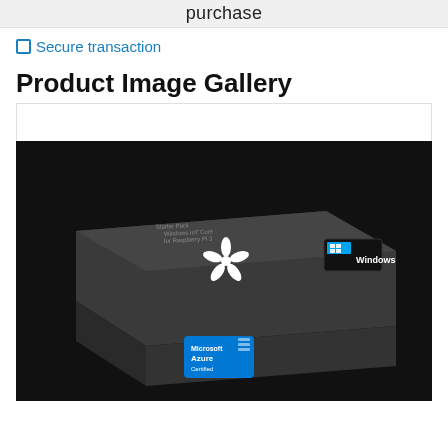purchase
🔒 Secure transaction
Product Image Gallery
[Figure (photo): A dark grey box product with a white flower logo on top, a Windows logo sticker on the side, and a Microsoft Azure Certified sticker on the front. The box sits on a black background. Text on the box reads: Starter Pack, Windows IoT Core, for Raspberry Pi 3.]